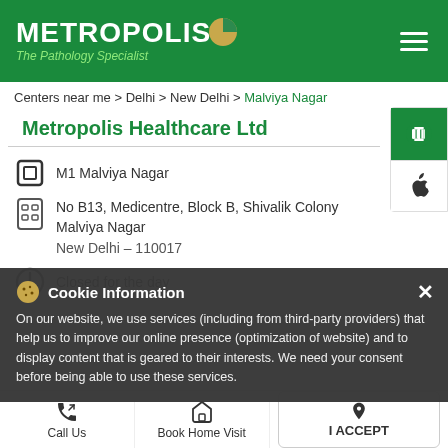[Figure (logo): Metropolis Healthcare logo on green header background with hamburger menu icon]
Centers near me > Delhi > New Delhi > Malviya Nagar
Metropolis Healthcare Ltd
M1 Malviya Nagar
No B13, Medicentre, Block B, Shivalik Colony
Malviya Nagar
New Delhi – 110017
Closed for the day
Cookie Information
On our website, we use services (including from third-party providers) that help us to improve our online presence (optimization of website) and to display content that is geared to their interests. We need your consent before being able to use these services.
This Independence Day, make health your priority
Call Us
Book Home Visit
Directions